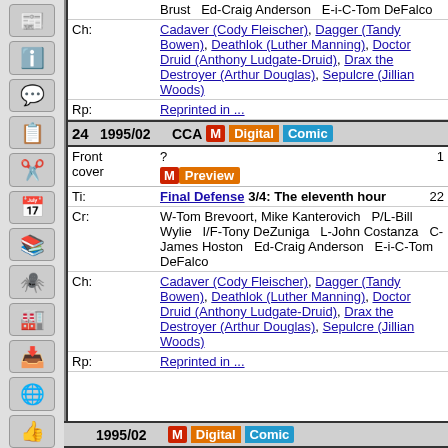|  | Brust   Ed-Craig Anderson   E-i-C-Tom DeFalco |
| Ch: | Cadaver (Cody Fleischer), Dagger (Tandy Bowen), Deathlok (Luther Manning), Doctor Druid (Anthony Ludgate-Druid), Drax the Destroyer (Arthur Douglas), Sepulcre (Jillian Woods) |
| Rp: | Reprinted in ... |
| 24 | 1995/02 | CCA M Digital Comic |
| Front cover | ? | 1 |
| Ti: | Final Defense 3/4: The eleventh hour | 22 |
| Cr: | W-Tom Brevoort, Mike Kanterovich   P/L-Bill Wylie   I/F-Tony DeZuniga   L-John Costanza   C-James Hoston   Ed-Craig Anderson   E-i-C-Tom DeFalco |
| Ch: | Cadaver (Cody Fleischer), Dagger (Tandy Bowen), Deathlok (Luther Manning), Doctor Druid (Anthony Ludgate-Druid), Drax the Destroyer (Arthur Douglas), Sepulcre (Jillian Woods) |
| Rp: | Reprinted in ... |